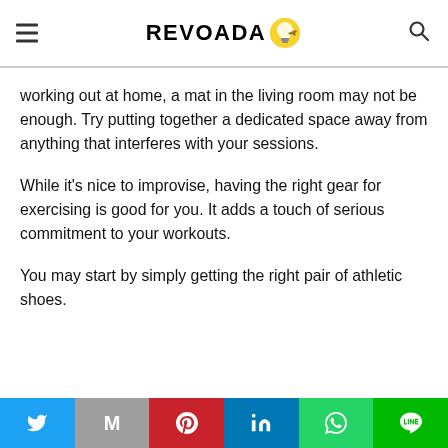REVOADA
working out at home, a mat in the living room may not be enough. Try putting together a dedicated space away from anything that interferes with your sessions.
While it's nice to improvise, having the right gear for exercising is good for you. It adds a touch of serious commitment to your workouts.
You may start by simply getting the right pair of athletic shoes.
Twitter | Gmail | Pinterest | LinkedIn | WhatsApp | LINE